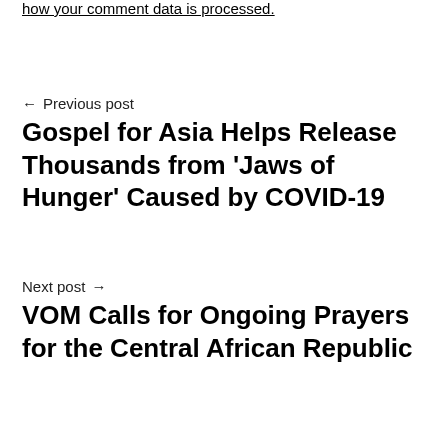how your comment data is processed.
← Previous post
Gospel for Asia Helps Release Thousands from 'Jaws of Hunger' Caused by COVID-19
Next post →
VOM Calls for Ongoing Prayers for the Central African Republic